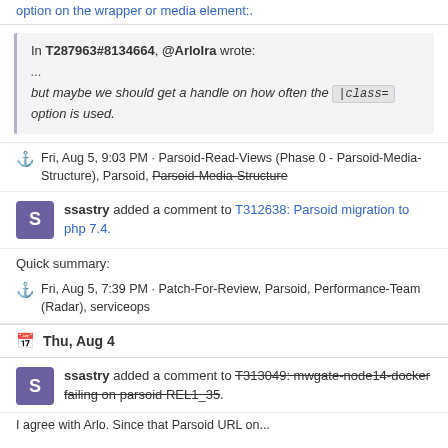option on the wrapper or media element:.
In T287963#8134664, @ArloIra wrote: ... but maybe we should get a handle on how often the |class= option is used.
Fri, Aug 5, 9:03 PM · Parsoid-Read-Views (Phase 0 - Parsoid-Media-Structure), Parsoid, Parsoid-Media-Structure
ssastry added a comment to T312638: Parsoid migration to php 7.4.
Quick summary:
Fri, Aug 5, 7:39 PM · Patch-For-Review, Parsoid, Performance-Team (Radar), serviceops
Thu, Aug 4
ssastry added a comment to T313049: mwgate-node14-docker failing on parsoid REL1_35.
I agree with Arlo. Since that Parsoid URL on...